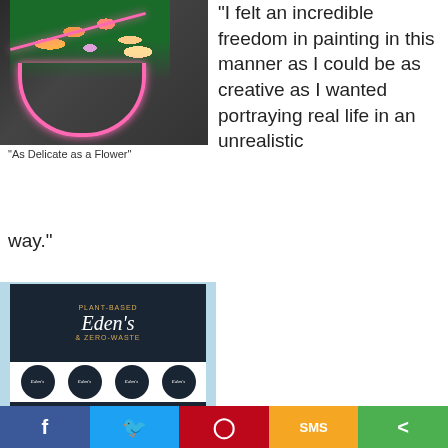[Figure (photo): Painting of neon pink smiley face sign with colorful floral arrangement on top, dark background - titled 'As Delicate as a Flower']
"As Delicate as a Flower"
"I felt an incredible freedom in painting in this manner as I could be as creative as I wanted portraying real life in an unrealistic way."
[Figure (photo): Eden's plant-based zero-waste brand identity design showing logo on dark background, circular badge variations, and wordmark variations in light color on dark background]
Facebook | Twitter | Pinterest | SMS | Share